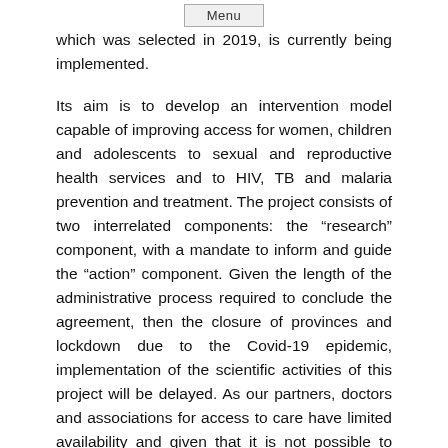Menu
which was selected in 2019, is currently being implemented.
Its aim is to develop an intervention model capable of improving access for women, children and adolescents to sexual and reproductive health services and to HIV, TB and malaria prevention and treatment. The project consists of two interrelated components: the “research” component, with a mandate to inform and guide the “action” component. Given the length of the administrative process required to conclude the agreement, then the closure of provinces and lockdown due to the Covid-19 epidemic, implementation of the scientific activities of this project will be delayed. As our partners, doctors and associations for access to care have limited availability and given that it is not possible to launch missions in situ, our funding agency is